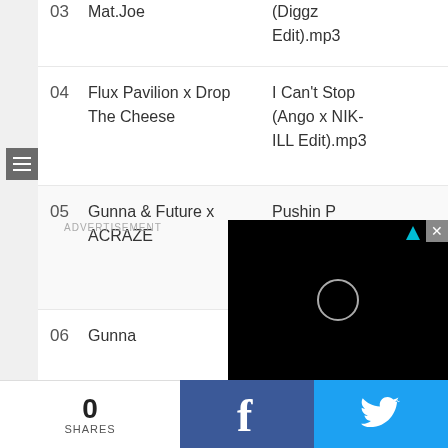03  Flux Groups x Triple-A / Mat.Joe  (Diggz Edit).mp3
04  Flux Pavilion x Drop The Cheese  I Can't Stop (Ango x NIK-ILL Edit).mp3
05  Gunna & Future x ACRAZE  Pushin P (Rivas Edit).mp3
06  Gunna  Banking On Me (Intro Edit).mp3
07  Isaac Hayes x HAWK
ADVERTISEMENT
0 SHARES